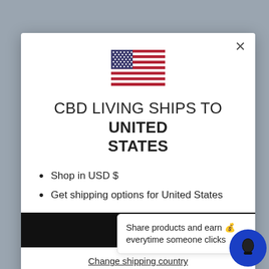[Figure (illustration): US flag emoji/icon centered at top of modal dialog]
CBD LIVING SHIPS TO UNITED STATES
Shop in USD $
Get shipping options for United States
Share products and earn 💰 everytime someone clicks
Change shipping country